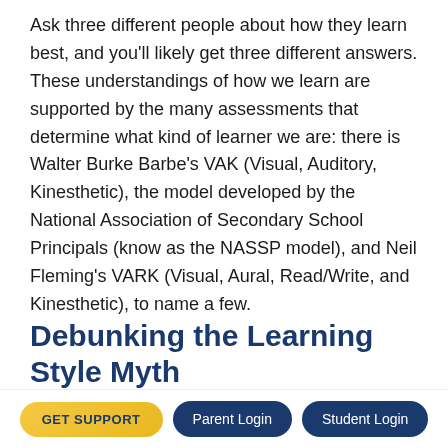Ask three different people about how they learn best, and you'll likely get three different answers. These understandings of how we learn are supported by the many assessments that determine what kind of learner we are: there is Walter Burke Barbe's VAK (Visual, Auditory, Kinesthetic), the model developed by the National Association of Secondary School Principals (know as the NASSP model), and Neil Fleming's VARK (Visual, Aural, Read/Write, and Kinesthetic), to name a few.
Debunking the Learning Style Myth
It might surprise you to learn that the idea of learning styles (the idea that we learn best with one approach as
GET SUPPORT  Parent Login  Student Login